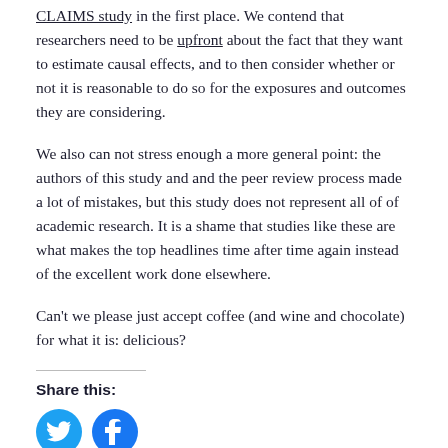CLAIMS study in the first place. We contend that researchers need to be upfront about the fact that they want to estimate causal effects, and to then consider whether or not it is reasonable to do so for the exposures and outcomes they are considering.
We also can not stress enough a more general point: the authors of this study and and the peer review process made a lot of mistakes, but this study does not represent all of of academic research. It is a shame that studies like these are what makes the top headlines time after time again instead of the excellent work done elsewhere.
Can't we please just accept coffee (and wine and chocolate) for what it is: delicious?
Share this:
[Figure (infographic): Twitter and Facebook social share buttons (circular icons in blue)]